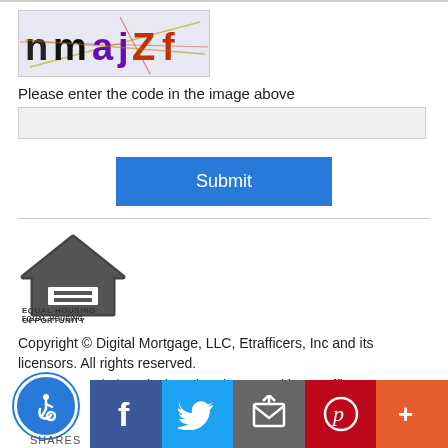[Figure (other): CAPTCHA image showing distorted text 'nmajZf' with colored letters and lines over a light gray background]
Please enter the code in the image above
[Figure (other): Text input field for CAPTCHA entry, light gray background]
[Figure (other): Blue Submit button]
[Figure (other): Equal Housing Opportunity logo — house outline with equals sign, text EQUAL HOUSING OPPORTUNITY below]
Copyright © Digital Mortgage, LLC, Etrafficers, Inc and its licensors. All rights reserved.
Mortgage Websites designed and powered by Etrafficers, Inc.
SHARES — social share bar with accessibility icon, Facebook, Twitter, Email, Pinterest, More buttons